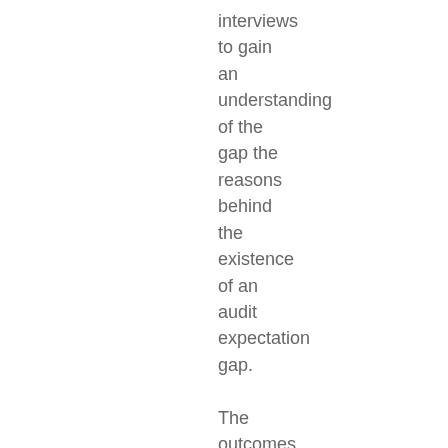interviews to gain an understanding of the gap the reasons behind the existence of an audit expectation gap.

The outcomes of this study reveal that the